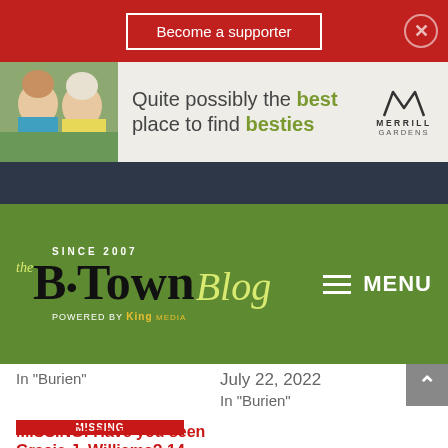Become a supporter
[Figure (photo): Advertisement banner: Two elderly women smiling outdoors. Text reads: Quite possibly the best place to find besties. Merrill Gardens logo.]
[Figure (logo): B-Town Blog logo - Since 2007, Powered by King Media. Green background with MENU hamburger icon.]
In "Burien"
July 22, 2022
In "Burien"
[Figure (photo): Missing juvenile flyer for Gracie J Williams. Last seen Burien, WA. Last seen 12:30 am 7/5/22. Native American/Makah Nation. Age: 14, Height: 5'3", Weight: 120lbs, Hair: Brown eyes, Eyes: Brown hair.]
MISSING: Have you seen Gracie J. Williams? 14-year old